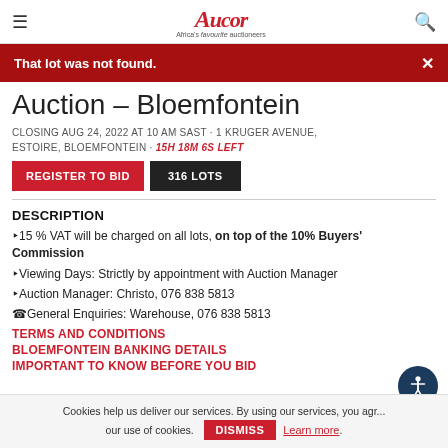≡  Aucor Africa's favourite auctioneers  🔍
That lot was not found.
Auction – Bloemfontein
CLOSING AUG 24, 2022 AT 10 AM SAST · 1 KRUGER AVENUE, ESTOIRE, BLOEMFONTEIN · 15H 18M 6S LEFT
REGISTER TO BID   316 LOTS
DESCRIPTION
•15 % VAT will be charged on all lots, on top of the 10% Buyers' Commission
•Viewing Days: Strictly by appointment with Auction Manager
•Auction Manager: Christo, 076 838 5813
☎General Enquiries: Warehouse, 076 838 5813
TERMS AND CONDITIONS
BLOEMFONTEIN BANKING DETAILS
IMPORTANT TO KNOW BEFORE YOU BID
Cookies help us deliver our services. By using our services, you agr... our use of cookies.  DISMISS  Learn more.